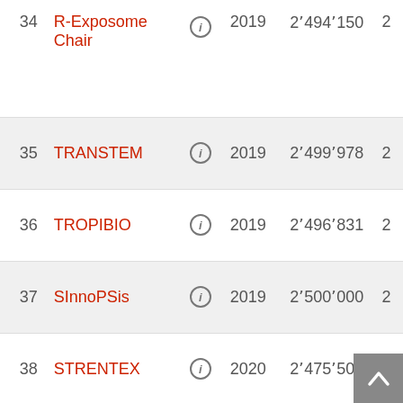| # | Name |  | Year | Amount |  |
| --- | --- | --- | --- | --- | --- |
| 34 | R-Exposome Chair | ℹ | 2019 | 2'494'150 | 2 |
| 35 | TRANSTEM | ℹ | 2019 | 2'499'978 | 2 |
| 36 | TROPIBIO | ℹ | 2019 | 2'496'831 | 2 |
| 37 | SInnoPSis | ℹ | 2019 | 2'500'000 | 2 |
| 38 | STRENTEX | ℹ | 2020 | 2'475'500 | 2 |
| 39 | MATTER | ℹ | 2020 | 2'499'750 | 2 |